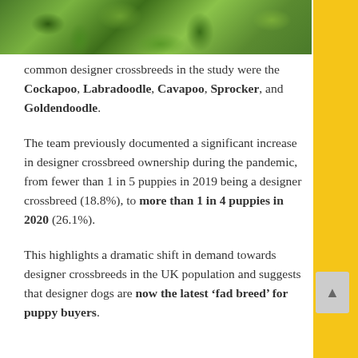[Figure (photo): Close-up photograph of green plants and foliage, cropped at the top of the page]
common designer crossbreeds in the study were the Cockapoo, Labradoodle, Cavapoo, Sprocker, and Goldendoodle.
The team previously documented a significant increase in designer crossbreed ownership during the pandemic, from fewer than 1 in 5 puppies in 2019 being a designer crossbreed (18.8%), to more than 1 in 4 puppies in 2020 (26.1%).
This highlights a dramatic shift in demand towards designer crossbreeds in the UK population and suggests that designer dogs are now the latest ‘fad breed’ for puppy buyers.